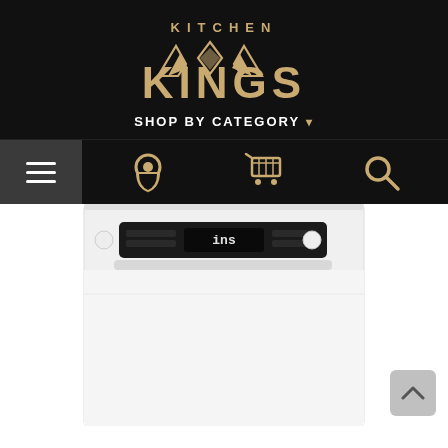[Figure (logo): Kitchen Kings logo — gold crown/diamond icon with 'KITCHEN' text above and 'KINGS' in large letters below, on black background]
SHOP BY CATEGORY ▾
[Figure (infographic): Navigation icon bar: hamburger menu (dark grey box, white lines), location pin icon (gold), shopping cart icon (gold), search/magnifier icon (gold) — all on black background]
[Figure (photo): White dishwasher appliance with dark control panel at top showing digital display, photographed from front on white background]